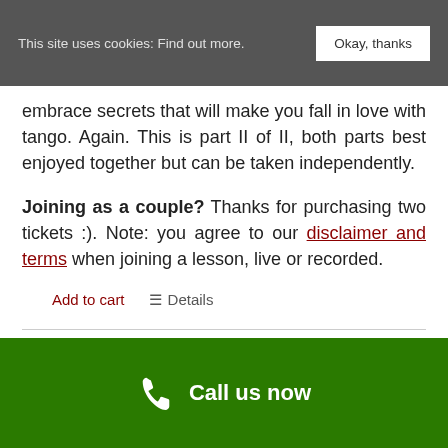This site uses cookies: Find out more.  Okay, thanks
embrace secrets that will make you fall in love with tango. Again. This is part II of II, both parts best enjoyed together but can be taken independently.
Joining as a couple? Thanks for purchasing two tickets :). Note: you agree to our disclaimer and terms when joining a lesson, live or recorded.
Add to cart  ☰ Details
Call us now